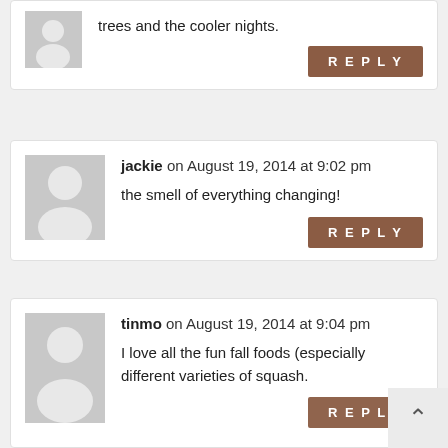trees and the cooler nights.
REPLY
jackie on August 19, 2014 at 9:02 pm
the smell of everything changing!
REPLY
tinmo on August 19, 2014 at 9:04 pm
I love all the fun fall foods (especially different varieties of squash.
REPLY